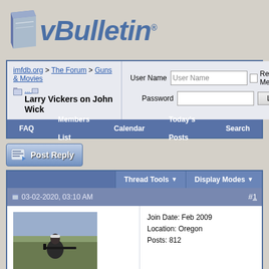[Figure (logo): vBulletin forum software logo with blue 3D icon and italic text]
imfdb.org > The Forum > Guns & Movies
Larry Vickers on John Wick
User Name | Password | Remember Me? | Log in
FAQ   Members List   Calendar   Today's Posts   Search
[Figure (screenshot): Post Reply button]
Thread Tools   Display Modes
03-02-2020, 03:10 AM   #1
[Figure (photo): User avatar photo of person shooting a rifle outdoors]
Rockwolf66
Senior Member
Join Date: Feb 2009
Location: Oregon
Posts: 812
Larry Vickers on John Wick